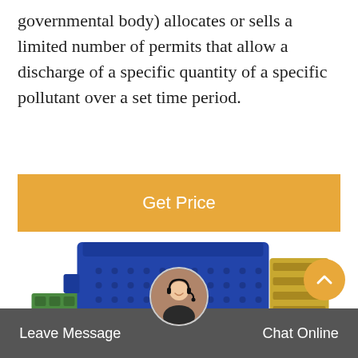governmental body) allocates or sells a limited number of permits that allow a discharge of a specific quantity of a specific pollutant over a set time period.
[Figure (other): Orange 'Get Price' button bar]
[Figure (photo): Blue electronic sensor module with green terminal block connectors and gold-colored connector on the right side]
[Figure (other): Orange scroll-to-top circular button with upward chevron icon]
[Figure (other): Customer service representative avatar circle photo]
Leave Message    Chat Online